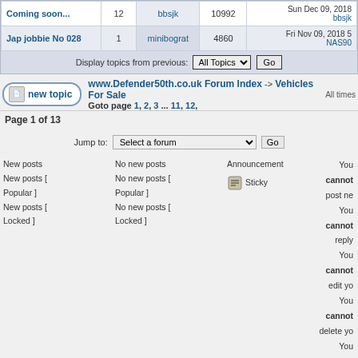| Topic | Replies | Author | Views | Last Post |
| --- | --- | --- | --- | --- |
| Coming soon... | 12 | bbsjk | 10992 | Sun Dec 09, 2018 bbsjk |
| Jap jobbie No 028 | 1 | minibograt | 4860 | Fri Nov 09, 2018 NAS90 |
Display topics from previous: All Topics Go
www.Defender50th.co.uk Forum Index -> Vehicles For Sale  Goto page 1, 2, 3 ... 11, 12,  All times  Page 1 of 13
Jump to: Select a forum
New posts
No new posts
Announcement
New posts [ Popular ]
No new posts [ Popular ]
Sticky
New posts [ Locked ]
No new posts [ Locked ]
You cannot post new topics. You cannot reply to topics. You cannot edit your posts. You cannot delete your posts. You cannot vote in polls.
[Figure (other): Donate button with PayPal and payment card icons (MasterCard, Visa, Amex, Direct Debit)]
Powered by phpBB © phpBB Group